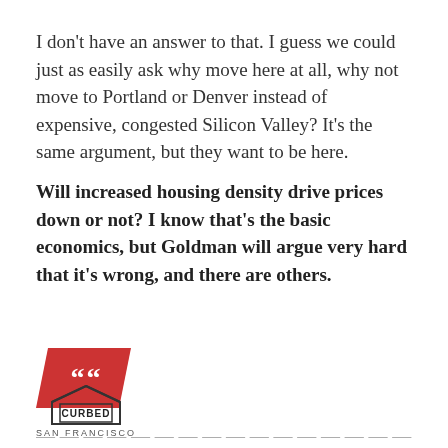I don't have an answer to that. I guess we could just as easily ask why move here at all, why not move to Portland or Denver instead of expensive, congested Silicon Valley? It's the same argument, but they want to be here.
Will increased housing density drive prices down or not? I know that's the basic economics, but Goldman will argue very hard that it's wrong, and there are others.
[Figure (illustration): Red parallelogram shape with white opening quotation marks (““) inside, used as a decorative pull-quote indicator]
CURBED SAN FRANCISCO